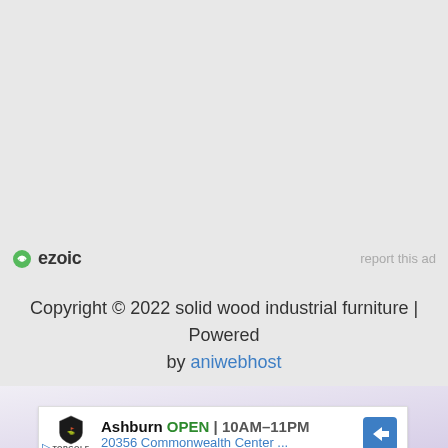[Figure (logo): Ezoic logo with green circular icon and bold text 'ezoic', with 'report this ad' link on the right]
Copyright © 2022 solid wood industrial furniture | Powered by aniwebhost
[Figure (screenshot): Advertisement banner showing Topgolf Ashburn location: OPEN 10AM-11PM, 20356 Commonwealth Center ..., with navigation arrow icon]